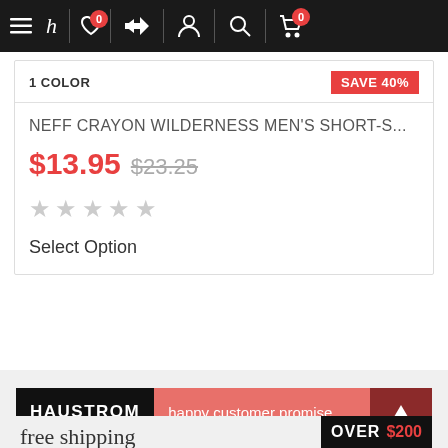[Figure (screenshot): E-commerce website navigation bar with hamburger menu, logo h, heart wishlist icon with badge 0, compare arrows icon, user icon, search icon, and cart icon with badge 0]
1 COLOR
SAVE 40%
NEFF CRAYON WILDERNESS MEN'S SHORT-S...
$13.95 $23.25
Select Option
[Figure (logo): HAUSTROM happy customer promise banner]
free shipping OVER $200